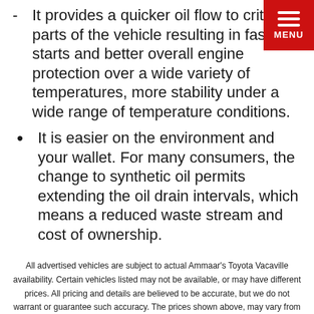[Figure (other): Red menu button in top-right corner with three white horizontal lines and MENU label]
- It provides a quicker oil flow to critical parts of the vehicle resulting in faster starts and better overall engine protection over a wide variety of temperatures, more stability under a wide range of temperature conditions.
• It is easier on the environment and your wallet. For many consumers, the change to synthetic oil permits extending the oil drain intervals, which means a reduced waste stream and cost of ownership.
All advertised vehicles are subject to actual Ammaar's Toyota Vacaville availability. Certain vehicles listed may not be available, or may have different prices. All pricing and details are believed to be accurate, but we do not warrant or guarantee such accuracy. The prices shown above, may vary from region to region, as will incentives, and are subject to change. Vehicle information is based off standard equipment and may vary from vehicle to vehicle. Call or email for complete vehicle specific information. Prices do not include government fees and taxes, dealer document processing charge and electronic filing ($85), any finance charge or any emissions testing charge.